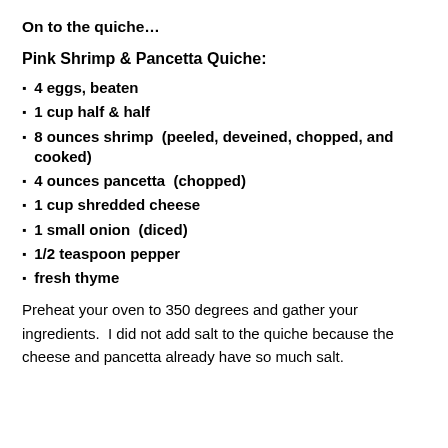On to the quiche…
Pink Shrimp & Pancetta Quiche:
4 eggs, beaten
1 cup half & half
8 ounces shrimp  (peeled, deveined, chopped, and cooked)
4 ounces pancetta  (chopped)
1 cup shredded cheese
1 small onion  (diced)
1/2 teaspoon pepper
fresh thyme
Preheat your oven to 350 degrees and gather your ingredients.  I did not add salt to the quiche because the cheese and pancetta already have so much salt.